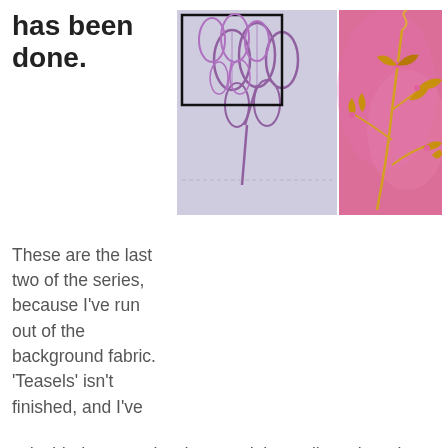has been done.
[Figure (photo): Two textile/fabric art pieces side by side: left shows purple/lavender abstract flower outlines on light background with a black inset square; right shows golden leaf and flower shapes on a pink/magenta fabric background with embroidered stems.]
These are the last two of the series, because I've run out of the background fabric. 'Teasels' isn't finished, and I've decided to put a border round them all, so there is still a bit of work to do. However, even though I haven't yet decided if they are going to be a concertina book or a vessel, I've started trying out ideas for the backing...